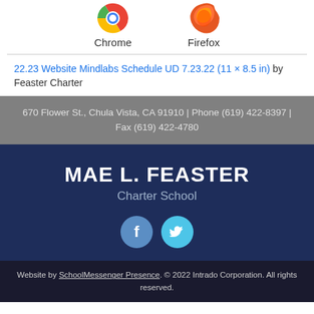[Figure (illustration): Chrome and Firefox browser logos at top, partially cropped]
Chrome   Firefox
22.23 Website Mindlabs Schedule UD 7.23.22 (11 × 8.5 in) by Feaster Charter
670 Flower St., Chula Vista, CA 91910 | Phone (619) 422-8397 | Fax (619) 422-4780
MAE L. FEASTER
Charter School
[Figure (illustration): Facebook and Twitter social media icon circles]
Website by SchoolMessenger Presence. © 2022 Intrado Corporation. All rights reserved.